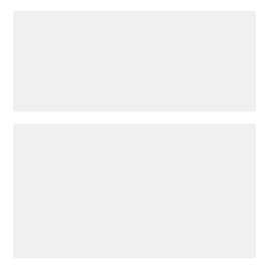[Figure (other): Gray placeholder card at the top, likely an image area]
Making Herbal Teas at Home from Your Garden
READ THE ARTICLE